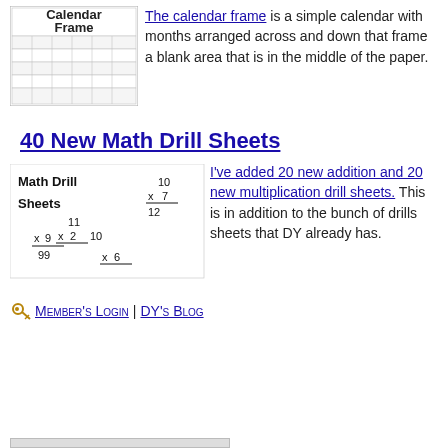[Figure (illustration): Calendar Frame image showing a calendar with months arranged across and down framing a blank area]
The calendar frame is a simple calendar with months arranged across and down that frame a blank area that is in the middle of the paper.
40 New Math Drill Sheets
[Figure (illustration): Math Drill Sheets image showing multiplication problems: 10 x 7, 12, 11 x 2 = 10, x 9, 99, x 6]
I've added 20 new addition and 20 new multiplication drill sheets. This is in addition to the bunch of drills sheets that DY already has.
Member's Login | DY's Blog